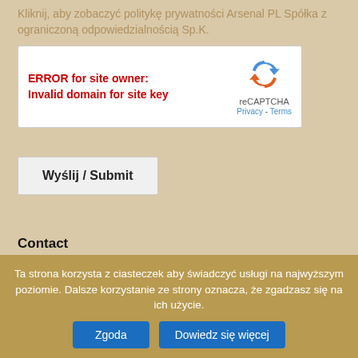Kliknij, aby zobaczyć politykę prywatności Arsenal PL Spółka z ograniczoną odpowiedzialnością Sp.K.
[Figure (screenshot): reCAPTCHA widget showing error: ERROR for site owner: Invalid domain for site key, with reCAPTCHA logo and Privacy - Terms links]
Wyślij / Submit
Contact
Export Department +48 85 747 90 57
Export Department in Gdynia +48 58 781 78 40
Ta strona korzysta z ciasteczek aby świadczyć usługi na najwyższym poziomie. Dalsze korzystanie ze strony oznacza, że zgadzasz się na ich użycie.
Zgoda
Dowiedz się więcej